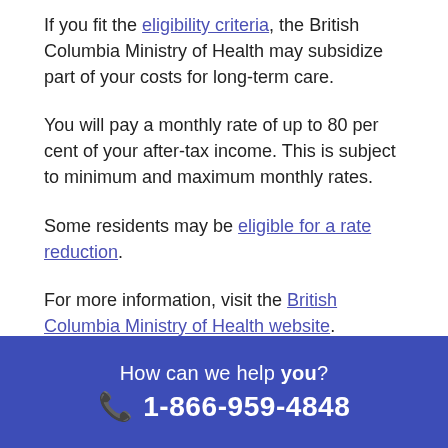If you fit the eligibility criteria, the British Columbia Ministry of Health may subsidize part of your costs for long-term care.
You will pay a monthly rate of up to 80 per cent of your after-tax income. This is subject to minimum and maximum monthly rates.
Some residents may be eligible for a rate reduction.
For more information, visit the British Columbia Ministry of Health website.
How can we help you? 1-866-959-4848